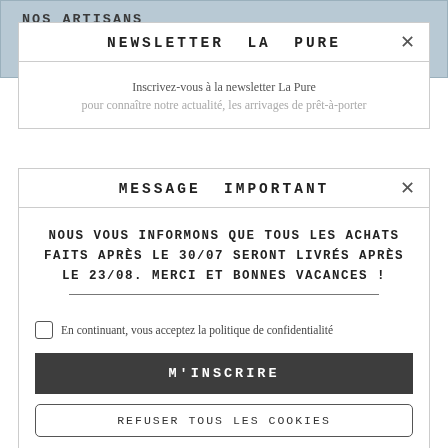NOS ARTISANS PARTENAIRES:
NEWSLETTER LA PURE
Inscrivez-vous à la newsletter La Pure pour connaître notre actualité, les arrivages de prêt-à-porter
MESSAGE IMPORTANT
NOUS VOUS INFORMONS QUE TOUS LES ACHATS FAITS APRÈS LE 30/07 SERONT LIVRÉS APRÈS LE 23/08. MERCI ET BONNES VACANCES !
En continuant, vous acceptez la politique de confidentialité
M'INSCRIRE
REFUSER TOUS LES COOKIES